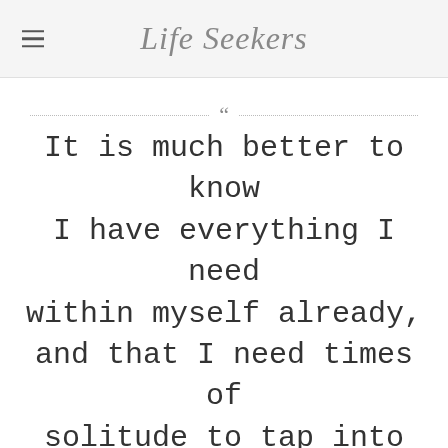Life Seekers
It is much better to know I have everything I need within myself already, and that I need times of solitude to tap into my own source and first minister to myself. After that I can happily and